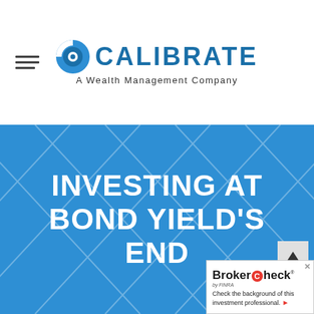[Figure (logo): Calibrate - A Wealth Management Company logo with circular blue icon and hamburger menu icon on the left]
INVESTING AT BOND YIELD'S END
[Figure (screenshot): BrokerCheck by FINRA widget - Check the background of this investment professional.]